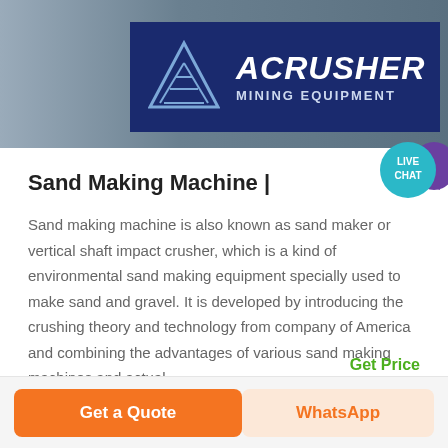[Figure (logo): ACRUSHER Mining Equipment banner logo with triangle icon on dark blue background, overlaid on grey industrial photo]
[Figure (illustration): Teal speech bubble with LIVE CHAT text in white]
Sand Making Machine |
Sand making machine is also known as sand maker or vertical shaft impact crusher, which is a kind of environmental sand making equipment specially used to make sand and gravel. It is developed by introducing the crushing theory and technology from company of America and combining the advantages of various sand making machines and actual ...
Get Price
Get a Quote
WhatsApp